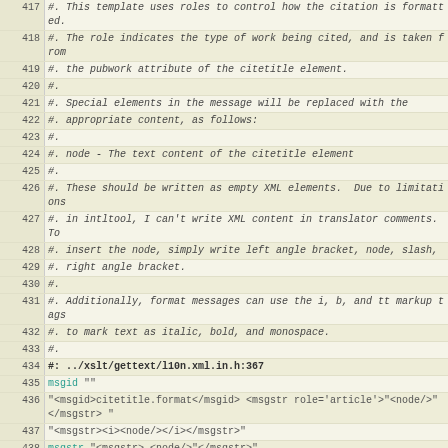417 #. This template uses roles to control how the citation is formatted.
418 #. The role indicates the type of work being cited, and is taken from
419 #. the pubwork attribute of the citetitle element.
420 #.
421 #. Special elements in the message will be replaced with the
422 #. appropriate content, as follows:
423 #.
424 #. node - The text content of the citetitle element
425 #.
426 #. These should be written as empty XML elements.  Due to limitations
427 #. in intltool, I can't write XML content in translator comments.  To
428 #. insert the node, simply write left angle bracket, node, slash,
429 #. right angle bracket.
430 #.
431 #. Additionally, format messages can use the i, b, and tt markup tags
432 #. to mark text as italic, bold, and monospace.
433 #.
434 #: ../xslt/gettext/l10n.xml.in.h:367
435 msgid ""
436 "<msgid>citetitle.format</msgid> <msgstr role='article'>"<node/>"</msgstr> "
437 "<msgstr><i><node/></i></msgstr>"
438 msgstr "<msgstr>„<node/>"</msgstr>"
439
440 #.
441 #. This is a special format message.  Please read the full translator